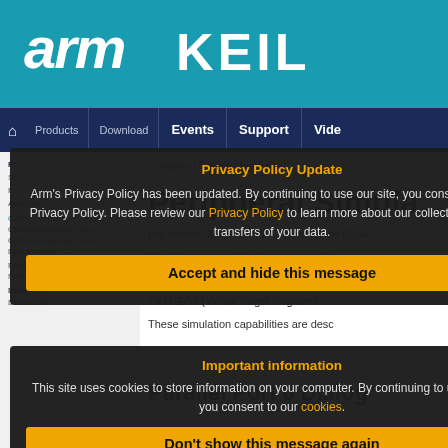arm KEIL
Products  Download  Events  Support  Video
Home / Device Database
Peripheral Simula
For Infineon XE167G-72F — Port 6 (8-bit I/O wi
Simulation support for this peripheral o
Dialog boxes which display and a
VTREGs (Virtual Target Registers
These simulation capabilities are desc
Parallel Port 6 Dialog
This dialog displays the SER and ni
Privacy Policy Update
Arm's Privacy Policy has been updated. By continuing to use our site, you consent to Arm's Privacy Policy. Please review our Privacy Policy to learn more about our collection, use and transfers of your data.
Accept and hide this message
Important information
This site uses cookies to store information on your computer. By continuing to use our site, you consent to our cookies.
Don't show this message again
Change Settings